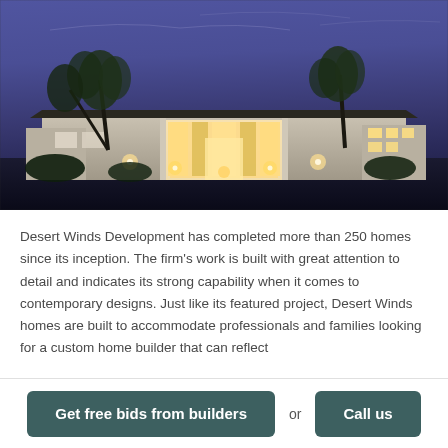[Figure (photo): Night-time exterior photo of a modern single-story luxury home with wide facade, illuminated entrance and landscaping, tropical plants, under a deep blue twilight sky.]
Desert Winds Development has completed more than 250 homes since its inception. The firm’s work is built with great attention to detail and indicates its strong capability when it comes to contemporary designs. Just like its featured project, Desert Winds homes are built to accommodate professionals and families looking for a custom home builder that can reflect
Get free bids from builders
or
Call us